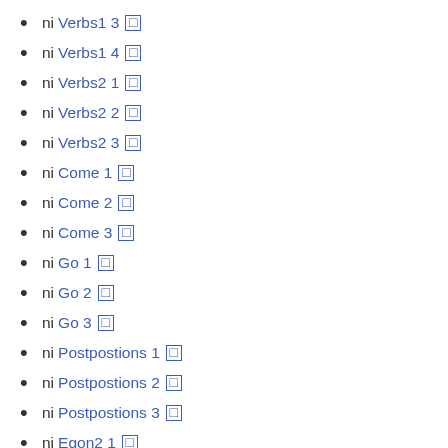ni Verbs1 3 □
ni Verbs1 4 □
ni Verbs2 1 □
ni Verbs2 2 □
ni Verbs2 3 □
ni Come 1 □
ni Come 2 □
ni Come 3 □
ni Go 1 □
ni Go 2 □
ni Go 3 □
ni Postpostions 1 □
ni Postpostions 2 □
ni Postpostions 3 □
ni Egon2 1 □
ni Egon2 2 □